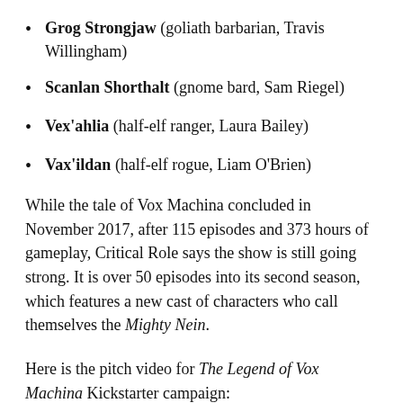Grog Strongjaw (goliath barbarian, Travis Willingham)
Scanlan Shorthalt (gnome bard, Sam Riegel)
Vex'ahlia (half-elf ranger, Laura Bailey)
Vax'ildan (half-elf rogue, Liam O'Brien)
While the tale of Vox Machina concluded in November 2017, after 115 episodes and 373 hours of gameplay, Critical Role says the show is still going strong. It is over 50 episodes into its second season, which features a new cast of characters who call themselves the Mighty Nein.
Here is the pitch video for The Legend of Vox Machina Kickstarter campaign: